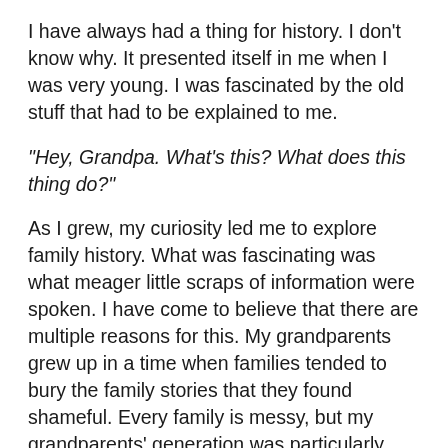I have always had a thing for history. I don't know why. It presented itself in me when I was very young. I was fascinated by the old stuff that had to be explained to me.
“Hey, Grandpa. What’s this? What does this thing do?”
As I grew, my curiosity led me to explore family history. What was fascinating was what meager little scraps of information were spoken. I have come to believe that there are multiple reasons for this. My grandparents grew up in a time when families tended to bury the family stories that they found shameful. Every family is messy, but my grandparents’ generation was particularly closed when it came to talking about such things. They were also the depression generation. Genealogy and family history are luxuries people could ill-afford when they were desperately trying to survive day-to-day and raise a family. Much of what I eventually learned about both my maternal and paternal families came late in my grandparents’ lives, or after their deaths.